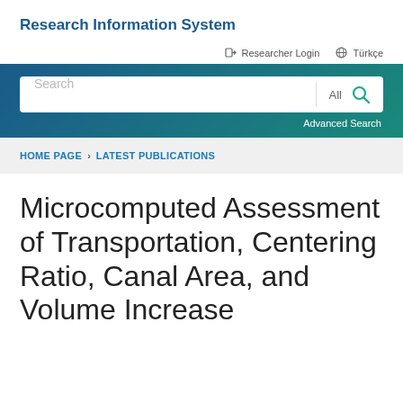Research Information System
Researcher Login   Türkçe
[Figure (screenshot): Search bar with 'Search' input field, 'All' dropdown, and search icon button, with 'Advanced Search' link below, on a teal/blue gradient background]
HOME PAGE > LATEST PUBLICATIONS
Microcomputed Assessment of Transportation, Centering Ratio, Canal Area, and Volume Increase